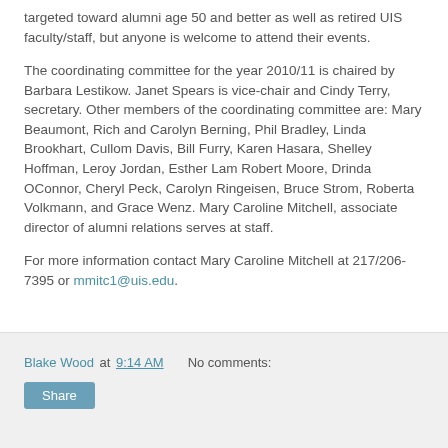targeted toward alumni age 50 and better as well as retired UIS faculty/staff, but anyone is welcome to attend their events.
The coordinating committee for the year 2010/11 is chaired by Barbara Lestikow. Janet Spears is vice-chair and Cindy Terry, secretary. Other members of the coordinating committee are: Mary Beaumont, Rich and Carolyn Berning, Phil Bradley, Linda Brookhart, Cullom Davis, Bill Furry, Karen Hasara, Shelley Hoffman, Leroy Jordan, Esther Lam Robert Moore, Drinda OConnor, Cheryl Peck, Carolyn Ringeisen, Bruce Strom, Roberta Volkmann, and Grace Wenz. Mary Caroline Mitchell, associate director of alumni relations serves at staff.
For more information contact Mary Caroline Mitchell at 217/206-7395 or mmitc1@uis.edu.
Blake Wood at 9:14 AM   No comments: